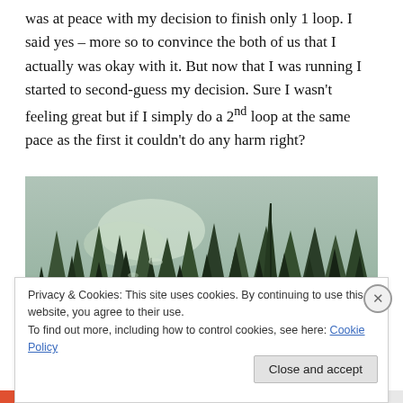was at peace with my decision to finish only 1 loop. I said yes – more so to convince the both of us that I actually was okay with it. But now that I was running I started to second-guess my decision. Sure I wasn't feeling great but if I simply do a 2nd loop at the same pace as the first it couldn't do any harm right?
[Figure (photo): Aerial or elevated view of a dense evergreen forest with tall pine and spruce trees, slightly overcast lighting]
Privacy & Cookies: This site uses cookies. By continuing to use this website, you agree to their use.
To find out more, including how to control cookies, see here: Cookie Policy